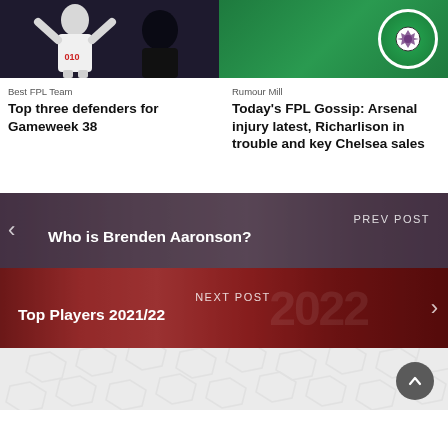[Figure (photo): Two article cards side by side. Left: soccer player in white Tottenham kit celebrating with arms raised against dark background. Right: Fantasy Football Community badge/logo on green background with a person silhouette.]
Best FPL Team
Top three defenders for Gameweek 38
Rumour Mill
Today's FPL Gossip: Arsenal injury latest, Richarlison in trouble and key Chelsea sales
PREV POST
Who is Brenden Aaronson?
NEXT POST
Top Players 2021/22
[Figure (other): Footer area with hexagonal pattern background and a dark circular scroll-to-top button with an upward chevron arrow.]